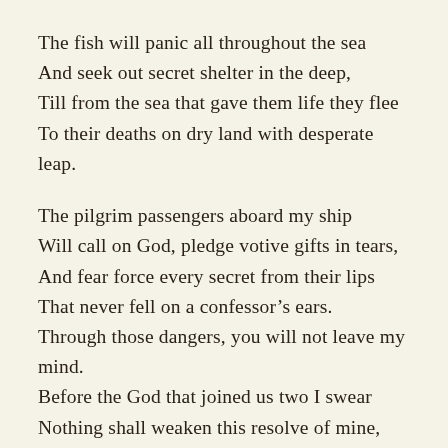The fish will panic all throughout the sea
And seek out secret shelter in the deep,
Till from the sea that gave them life they flee
To their deaths on dry land with desperate leap.

The pilgrim passengers aboard my ship
Will call on God, pledge votive gifts in tears,
And fear force every secret from their lips
That never fell on a confessor's ears.
Through those dangers, you will not leave my mind.
Before the God that joined us two I swear
Nothing shall weaken this resolve of mine,
And you'll be with me always, everywhere.